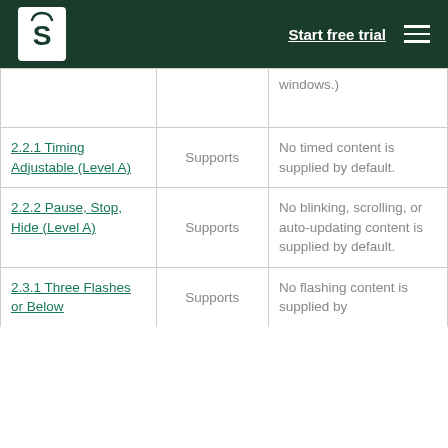Start free trial
| Criteria | Conformance Level | Remarks and Explanations |
| --- | --- | --- |
|  |  | windows.) |
| 2.2.1 Timing Adjustable (Level A) | Supports | No timed content is supplied by default. |
| 2.2.2 Pause, Stop, Hide (Level A) | Supports | No blinking, scrolling, or auto-updating content is supplied by default. |
| 2.3.1 Three Flashes or Below... | Supports | No flashing content is supplied by... |